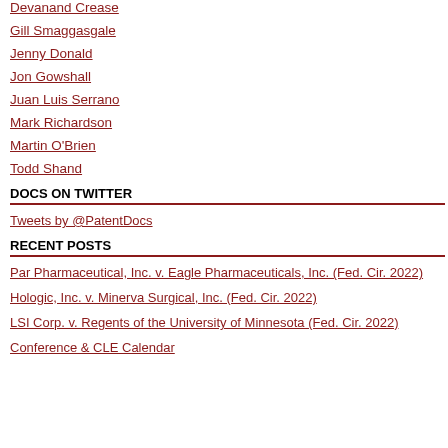Devanand Crease
Gill Smaggasgale
Jenny Donald
Jon Gowshall
Juan Luis Serrano
Mark Richardson
Martin O'Brien
Todd Shand
DOCS ON TWITTER
Tweets by @PatentDocs
RECENT POSTS
Par Pharmaceutical, Inc. v. Eagle Pharmaceuticals, Inc. (Fed. Cir. 2022)
Hologic, Inc. v. Minerva Surgical, Inc. (Fed. Cir. 2022)
LSI Corp. v. Regents of the University of Minnesota (Fed. Cir. 2022)
Conference & CLE Calendar
been able to avoid.
For additional information regarding see:
"Federal Circuit Lifts Injunction Ag
"Don't Stop the Dance'[*] -- The D July 23, 2015
"Amgen v. Sandoz (Fed. Cir. 2015
"Federal Circuit Decides Amgen v neither party happy)," July 21, 2015
"Amgen v. Sandoz -- Federal Circ
"Amgen Wins Injunction against N May 6, 2015
"Amgen v. Sandoz Update -- Amg Preliminary Injunction," April 28, 20
"Amgen v. Sandoz Update -- BIO Circuit," April 21, 2015
"Amgen Receives No Help from th 2015
"The Tyranny of the Judiciary," Ma
"Gotta Dance? Apparently Not -- A
"The First Biosimilar Application H Patent Issues?" March 12, 2015